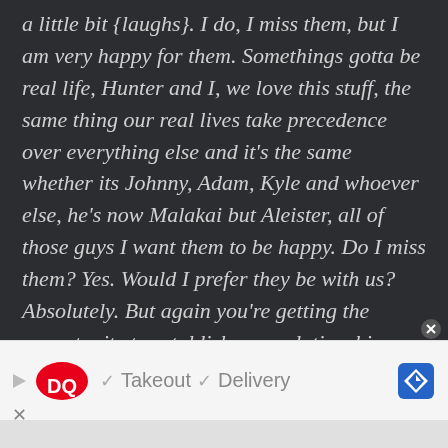a little bit {laughs}. I do, I miss them, but I am very happy for them. Somethings gotta be real life, Hunter and I, we love this stuff, the same thing our real lives take precedence over everything else and it's the same whether its Johnny, Adam, Kyle and whoever else, he's now Malakai but Aleister, all of those guys I want them to be happy. Do I miss them? Yes. Would I prefer they be with us? Absolutely. But again you're getting the opportunity to establish new relationships with Bron and Tony, The Creed Brothers, Carmello and Trick...
[Figure (other): Dairy Queen advertisement banner showing DQ logo with checkmarks next to 'Takeout' and 'Delivery' text, and a blue navigation/directions icon on the right. A close button (x) is shown at top right of the ad and a dismiss x at bottom left.]